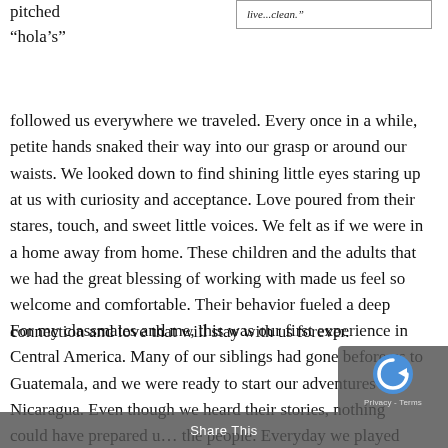pitched
“hola’s”
live...clean.”
followed us everywhere we traveled. Every once in a while, petite hands snaked their way into our grasp or around our waists. We looked down to find shining little eyes staring up at us with curiosity and acceptance. Love poured from their stares, touch, and sweet little voices. We felt as if we were in a home away from home. These children and the adults that we had the great blessing of working with made us feel so welcome and comfortable. Their behavior fueled a deep connection and love that will stay with us forever.
For my classmates and me, this was our first experience in Central America. Many of our siblings had gone before us to Guatemala, and we were ready to start our adventures in Nicaragua. Even though we heard their stories, nothing could have prepared us for the people. Everyday we played more hand games...